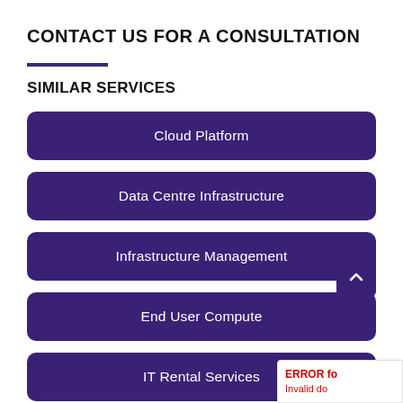CONTACT US FOR A CONSULTATION
SIMILAR SERVICES
Cloud Platform
Data Centre Infrastructure
Infrastructure Management
End User Compute
IT Rental Services
ERROR fo... Invalid do...